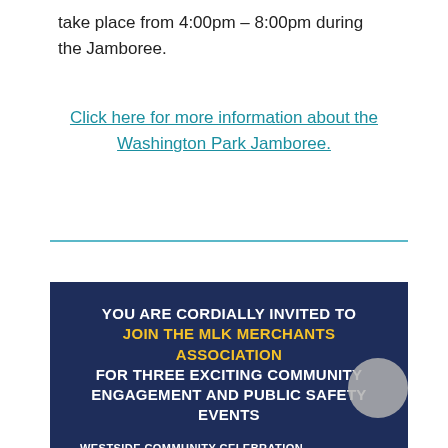take place from 4:00pm – 8:00pm during the Jamboree.
Click here for more information about the Washington Park Jamboree.
[Figure (infographic): Dark navy blue invitation flyer for the MLK Merchants Association community events. White bold text reads 'YOU ARE CORDIALLY INVITED TO', yellow bold text reads 'JOIN THE MLK MERCHANTS ASSOCIATION', white bold text reads 'FOR THREE EXCITING COMMUNITY ENGAGEMENT AND PUBLIC SAFETY EVENTS'. Bottom left shows 'WESTSIDE COMMUNITY CELEBRATION' in small white caps.]